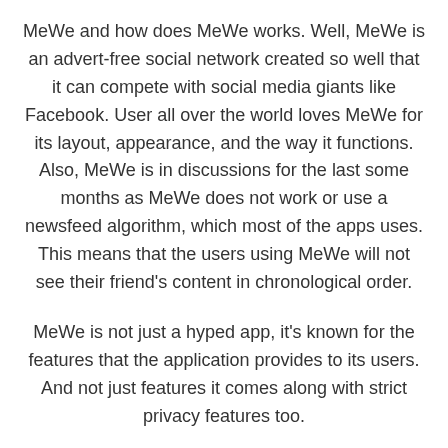MeWe and how does MeWe works. Well, MeWe is an advert-free social network created so well that it can compete with social media giants like Facebook. User all over the world loves MeWe for its layout, appearance, and the way it functions. Also, MeWe is in discussions for the last some months as MeWe does not work or use a newsfeed algorithm, which most of the apps uses. This means that the users using MeWe will not see their friend's content in chronological order.
MeWe is not just a hyped app, it's known for the features that the application provides to its users. And not just features it comes along with strict privacy features too.
[Figure (photo): A light gray placeholder image box at the bottom of the page]